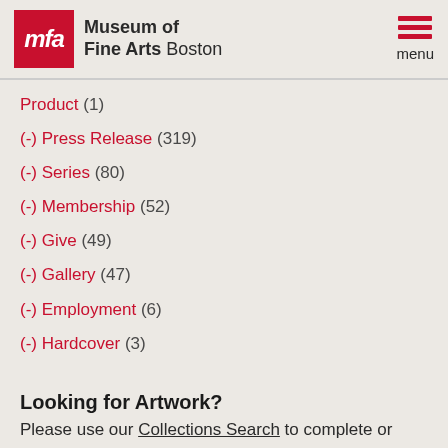[Figure (logo): Museum of Fine Arts Boston logo with red MFA box and menu hamburger icon]
Product (1)
(-) Press Release (319)
(-) Series (80)
(-) Membership (52)
(-) Give (49)
(-) Gallery (47)
(-) Employment (6)
(-) Hardcover (3)
Looking for Artwork?
Please use our Collections Search to complete or